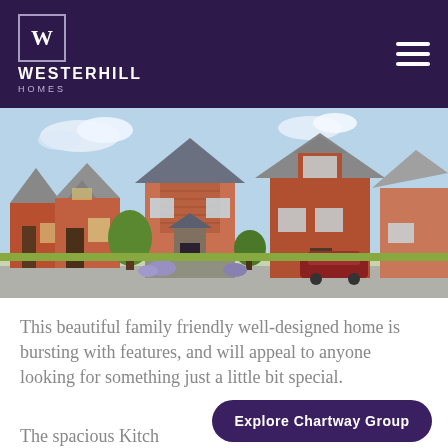[Figure (logo): Westerhill Homes logo — white W in a bordered box, with 'WESTERHILL' and 'HOMES' text in white on dark purple background]
[Figure (photo): Street scene showing new-build brick family homes with grey tile roofs, stone detailing, and landscaped gardens on a sunny day]
This beautiful family friendly well-designed home is bursting with features, and will appeal to anyone looking for something just a little bit special.
Explore Chartway Group
The spacious Kitch